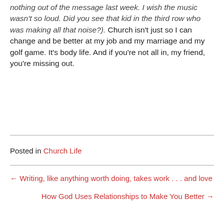nothing out of the message last week. I wish the music wasn't so loud. Did you see that kid in the third row who was making all that noise?). Church isn't just so I can change and be better at my job and my marriage and my golf game. It's body life. And if you're not all in, my friend, you're missing out.
Posted in Church Life
← Writing, like anything worth doing, takes work . . . and love
How God Uses Relationships to Make You Better →